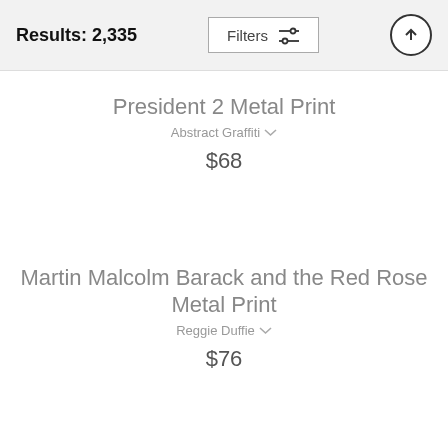Results: 2,335
President 2 Metal Print
Abstract Graffiti
$68
Martin Malcolm Barack and the Red Rose Metal Print
Reggie Duffie
$76
Air Force One Sam 28000 Metal Print
Robert Michaud